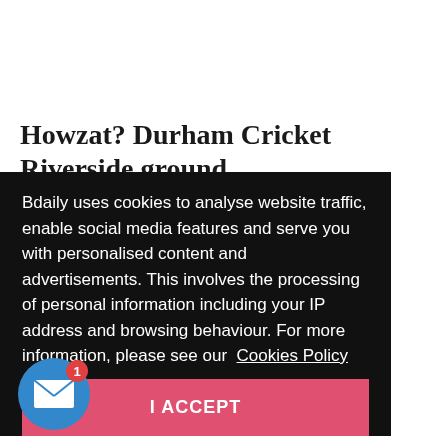Howzat? Durham Cricket Riverside ground renamed in new naming rights deal
Bdaily uses cookies to analyse website traffic, enable social media features and serve you with personalised content and advertisements. This involves the processing of personal information including your IP address and browsing behaviour. For more information, please see our Cookies Policy
I ACCEPT